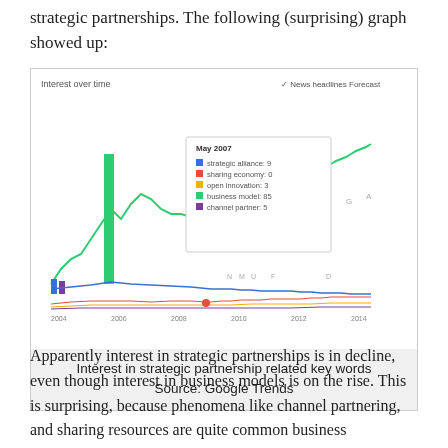strategic partnerships. The following (surprising) graph showed up:
[Figure (screenshot): Google Trends screenshot showing 'Interest over time' for strategic partnership related keywords (strategic alliance, sharing economy, open innovation, business model, channel partner) from approximately 2004 to 2014. The business model line (green) shows the highest interest and is rising, while others including strategic alliance (blue) are declining. A tooltip for May 2007 shows values: strategic alliance: 9, sharing economy: 0, open innovation: 3, business model: 85, channel partner: 5.]
Interest in strategic partnership related key words
Source: Google Trends
Apparently interest in strategic partnerships is in decline, even though interest in business models is on the rise. This is surprising, because phenomena like channel partnering, and sharing resources are quite common business innovation phenomena, but maybe not as common as I might think. Could this